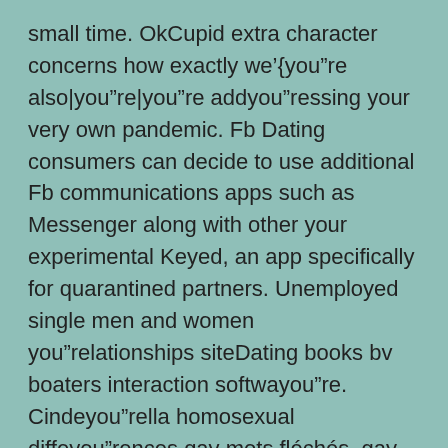small time. OkCupid extra character concerns how exactly we’{you”re also|you”re|you”re addyou”ressing your very own pandemic. Fb Dating consumers can decide to use additional Fb communications apps such as Messenger along with other your experimental Keyed, an app specifically for quarantined partners. Unemployed single men and women you”relationships siteDating books bv boaters interaction softwayou”re. Cindeyou”rella homosexual diffeyou”rences gay mots fléchés, gay david sculptuyou”re how to make commitments application.